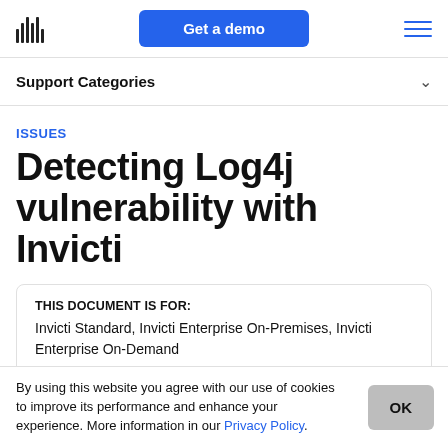Get a demo
Support Categories
ISSUES
Detecting Log4j vulnerability with Invicti
THIS DOCUMENT IS FOR:
Invicti Standard, Invicti Enterprise On-Premises, Invicti Enterprise On-Demand
By using this website you agree with our use of cookies to improve its performance and enhance your experience. More information in our Privacy Policy.